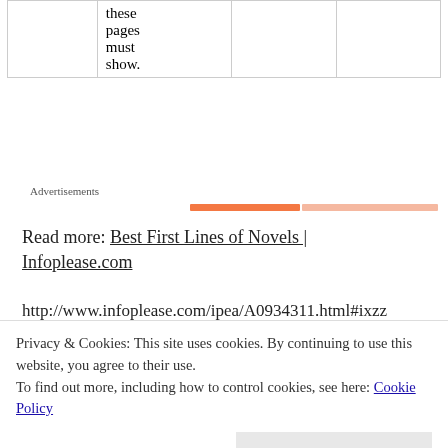|  | these
pages
must
show. |  |  |
Advertisements
Read more: Best First Lines of Novels | Infoplease.com
http://www.infoplease.com/ipea/A0934311.html#ixzz
Privacy & Cookies: This site uses cookies. By continuing to use this website, you agree to their use.
To find out more, including how to control cookies, see here: Cookie Policy
Close and accept